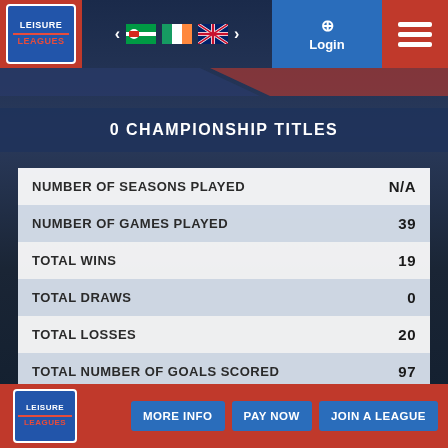Leisure Leagues — Navigation bar with flags, Login, and menu
0 CHAMPIONSHIP TITLES
|  |  |
| --- | --- |
| NUMBER OF SEASONS PLAYED | N/A |
| NUMBER OF GAMES PLAYED | 39 |
| TOTAL WINS | 19 |
| TOTAL DRAWS | 0 |
| TOTAL LOSSES | 20 |
| TOTAL NUMBER OF GOALS SCORED | 97 |
| BIGGEST EVER WIN | N/A |
MORE INFO   PAY NOW   JOIN A LEAGUE